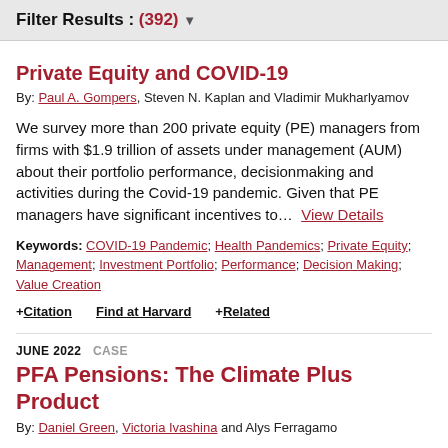Filter Results : (392) ▼
Private Equity and COVID-19
By: Paul A. Gompers, Steven N. Kaplan and Vladimir Mukharlyamov
We survey more than 200 private equity (PE) managers from firms with $1.9 trillion of assets under management (AUM) about their portfolio performance, decisionmaking and activities during the Covid-19 pandemic. Given that PE managers have significant incentives to... View Details
Keywords: COVID-19 Pandemic; Health Pandemics; Private Equity; Management; Investment Portfolio; Performance; Decision Making; Value Creation
+ Citation   Find at Harvard   + Related
JUNE 2022  CASE
PFA Pensions: The Climate Plus Product
By: Daniel Green, Victoria Ivashina and Alys Ferragamo